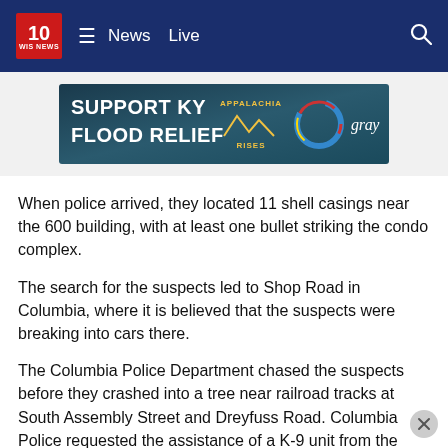10 WIS News — News  Live
[Figure (other): Support KY Flood Relief — Appalachia Rises — gray media advertisement banner]
When police arrived, they located 11 shell casings near the 600 building, with at least one bullet striking the condo complex.
The search for the suspects led to Shop Road in Columbia, where it is believed that the suspects were breaking into cars there.
The Columbia Police Department chased the suspects before they crashed into a tree near railroad tracks at South Assembly Street and Dreyfuss Road. Columbia Police requested the assistance of a K-9 unit from the Richland County Sheriff's Department.